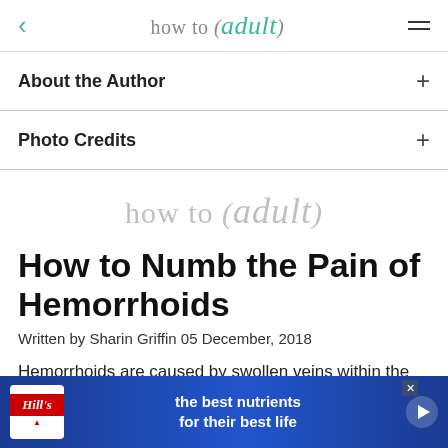how to (adult)
About the Author +
Photo Credits +
[Figure (logo): how to (adult) logo in gray watermark style]
How to Numb the Pain of Hemorrhoids
Written by Sharin Griffin 05 December, 2018
Hemorrhoids are caused by swollen veins within the re[ctum and the anus. The result is] pain at the [bottom and about]